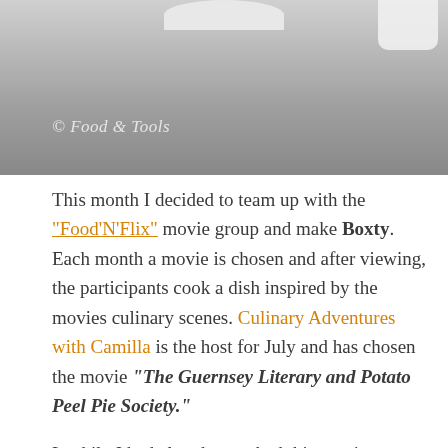[Figure (photo): Partial photo of dishes/plates on a gray stone or concrete surface, with watermark '© Food & Tools' in the lower left area. A white ceramic item is partially visible at top center and top right.]
This month I decided to team up with the "Food'N'Flix" movie group and make Boxty. Each month a movie is chosen and after viewing, the participants cook a dish inspired by the movies culinary scenes. Culinary Adventures with Camilla is the host for July and has chosen the movie "The Guernsey Literary and Potato Peel Pie Society."
Luckily I had already watched this movie on a flight a couple of months ago and had really enjoyed it. Worth watching this romantic drama if you haven't managed to see it yet. In the way of food inspiration throughout the movie, there was a